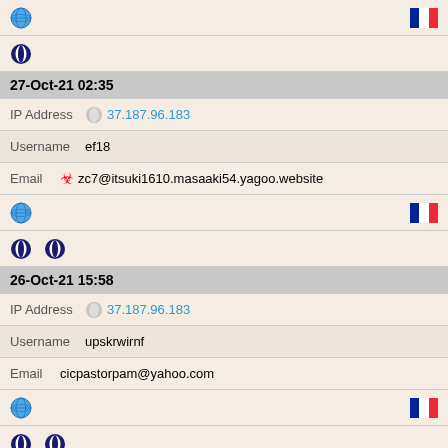[Figure (infographic): Row with globe icon on left and French flag on right]
[Figure (infographic): Row with single Opera browser icon]
27-Oct-21 02:35
IP Address  37.187.96.183
Username  ef18
Email  zc7@itsuki1610.masaaki54.yagoo.website
[Figure (infographic): Row with globe icon on left and French flag on right]
[Figure (infographic): Row with two Opera browser icons]
26-Oct-21 15:58
IP Address  37.187.96.183
Username  upskrwirnf
Email  cicpastorpam@yahoo.com
[Figure (infographic): Row with globe icon on left and French flag on right]
[Figure (infographic): Row with two Opera browser icons]
25-Oct-21 18:55
IP Address  37.187.96.183